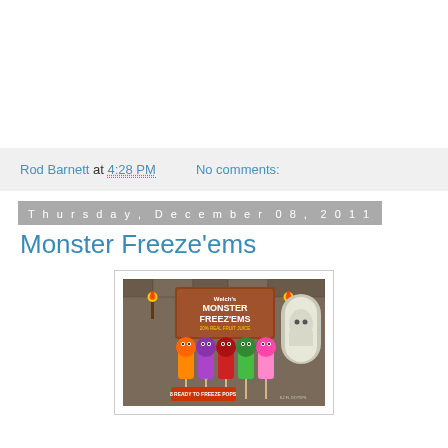Rod Barnett at 4:28 PM   No comments:
Thursday, December 08, 2011
Monster Freeze'ems
[Figure (photo): Box of Welch's Monster Freez'Ems freeze pops showing 8 ready-to-freeze pops with monster character designs in orange, purple, red, green, and pink colors. The box has a dungeon/castle theme with torches. Text reads: Welch's Monster Freez'Ems, 20% Real Fruit Juice, 8 Ready to Freeze Pops, 8-2 fl oz pops.]